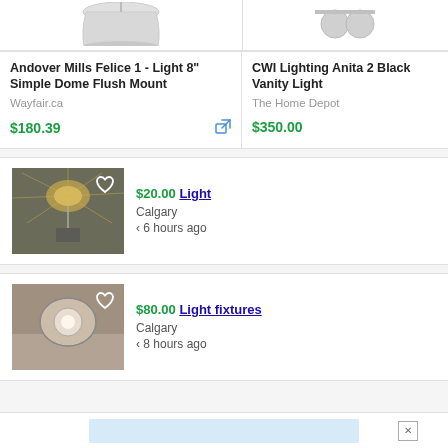[Figure (photo): Top portion of pendant/dome light fixture, cropped at top, on white background]
[Figure (photo): Top portion of CWI Lighting product, partially visible, cropped on right]
Andover Mills Felice 1 - Light 8" Simple Dome Flush Mount
CWI Lighting Anita 2 Black Vanity Light
Wayfair.ca
The Home Depot
$180.39
$350.00
[Figure (photo): Photo of hanging chandelier/pendant light with rattan or woven style, photographed in a room, with heart/favorite icon overlay]
$20.00 Light
Calgary
< 6 hours ago
[Figure (photo): Photo of a flush mount or wall light fixture with globe bulb, photographed from above on a surface, with heart/favorite icon overlay]
$80.00 Light fixtures
Calgary
< 8 hours ago